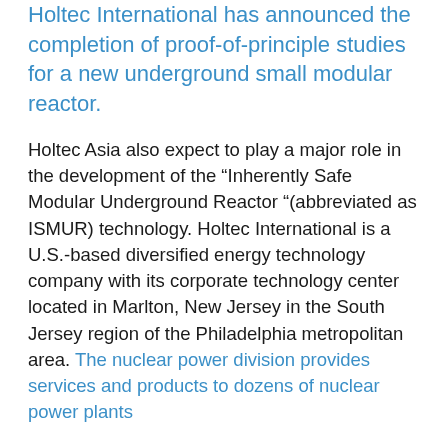Holtec International has announced the completion of proof-of-principle studies for a new underground small modular reactor.
Holtec Asia also expect to play a major role in the development of the “Inherently Safe Modular Underground Reactor “(abbreviated as ISMUR) technology. Holtec International is a U.S.-based diversified energy technology company with its corporate technology center located in Marlton, New Jersey in the South Jersey region of the Philadelphia metropolitan area. The nuclear power division provides services and products to dozens of nuclear power plants
HI-SMUR 140 (for Holtec Inherently Safe Modular Underground Reactor – 140 MWe